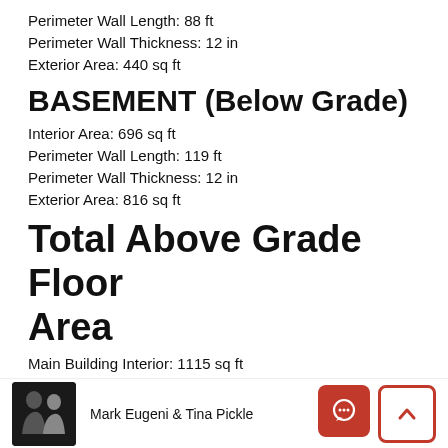Perimeter Wall Length: 88 ft
Perimeter Wall Thickness: 12 in
Exterior Area: 440 sq ft
BASEMENT (Below Grade)
Interior Area: 696 sq ft
Perimeter Wall Length: 119 ft
Perimeter Wall Thickness: 12 in
Exterior Area: 816 sq ft
Total Above Grade Floor Area
Main Building Interior: 1115 sq ft
Main Building Exterior: 1330 sq ft
Note: For explanation of floor area calculations and method of measurement please
Mark Eugeni & Tina Pickle